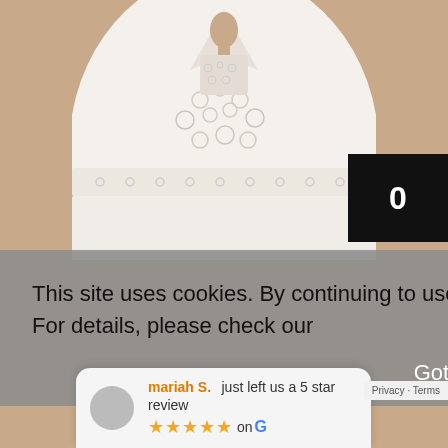[Figure (photo): Close-up photo of a person wearing a white lace wedding dress against a beige/peach background. The torso area is visible showing intricate lace detailing and floral patterns.]
0
This site uses cookies. By continuing to use this website, you agree to their use. For details, please check our
Got it
mariah S.  just left us a 5 star review
★★★★★ on G
Privacy · Terms